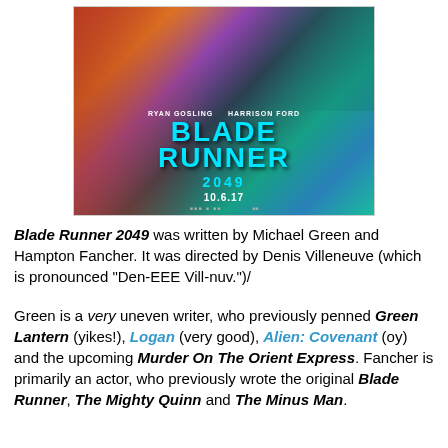[Figure (photo): Movie poster for Blade Runner 2049, featuring Ryan Gosling and Harrison Ford, with cyan/teal title text and orange/red/teal color scheme, release date 10.6.17]
Blade Runner 2049 was written by Michael Green and Hampton Fancher. It was directed by Denis Villeneuve (which is pronounced "Den-EEE Vill-nuv.")/
Green is a very uneven writer, who previously penned Green Lantern (yikes!), Logan (very good), Alien: Covenant (oy) and the upcoming Murder On The Orient Express. Fancher is primarily an actor, who previously wrote the original Blade Runner, The Mighty Quinn and The Minus Man.